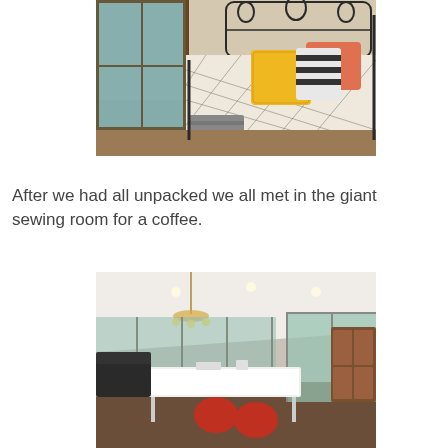[Figure (photo): A bedroom with a wrought-iron bed frame, a patterned black and white bedspread with yellow and orange/pink cushions, and sliding glass doors opening to a balcony with a garden view.]
After we had all unpacked we all met in the giant sewing room for a coffee.
[Figure (photo): A large, bright sewing/crafting room with floor-to-ceiling glass windows overlooking a garden, a long white folding table in the center, red chairs, a chandelier, recessed lighting, and a bookshelf/armoire in the corner.]